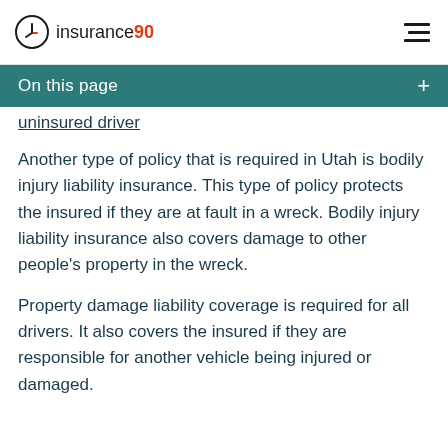insurance90
On this page
uninsured driver
Another type of policy that is required in Utah is bodily injury liability insurance. This type of policy protects the insured if they are at fault in a wreck. Bodily injury liability insurance also covers damage to other people's property in the wreck.
Property damage liability coverage is required for all drivers. It also covers the insured if they are responsible for another vehicle being injured or damaged.